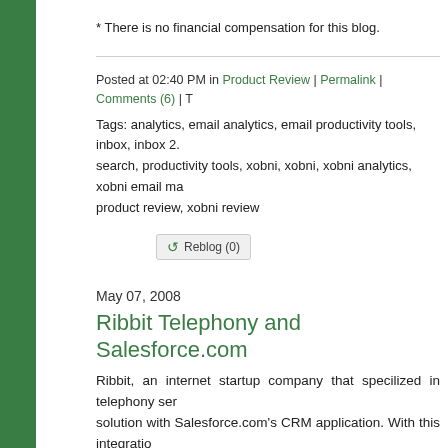* There is no financial compensation for this blog.
Posted at 02:40 PM in Product Review | Permalink | Comments (6) | T
Tags: analytics, email analytics, email productivity tools, inbox, inbox 2., search, productivity tools, xobni, xobni, xobni analytics, xobni email ma product review, xobni review
Reblog (0)
May 07, 2008
Ribbit Telephony and Salesforce.com
Ribbit, an internet startup company that specilized in telephony ser solution with Salesforce.com's CRM application. With this integratio their cell phones into SFA and attach the voice mails to a specific cu Voice messages can be converted into text for greater efficiency of messages can also be searched by keywords.
Customers can opt to use their own cell phone or make outbound c based phone. This provides flexibility to customers.